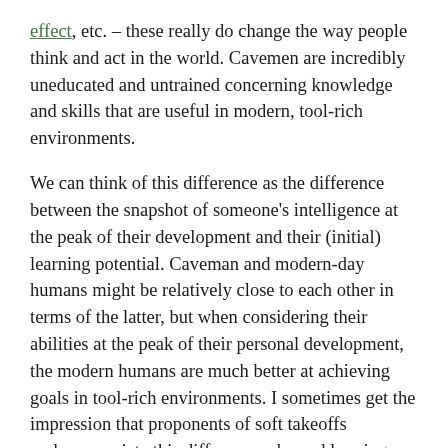effect, etc. – these really do change the way people think and act in the world. Cavemen are incredibly uneducated and untrained concerning knowledge and skills that are useful in modern, tool-rich environments.
We can think of this difference as the difference between the snapshot of someone's intelligence at the peak of their development and their (initial) learning potential. Caveman and modern-day humans might be relatively close to each other in terms of the latter, but when considering their abilities at the peak of their personal development, the modern humans are much better at achieving goals in tool-rich environments. I sometimes get the impression that proponents of soft takeoffs underappreciate this difference when addressing comparisons between, for instance, early humans and chimpanzees (this is just a vague general impression which doesn't apply to the arguments presented by AI impacts or by Paul Christiano).